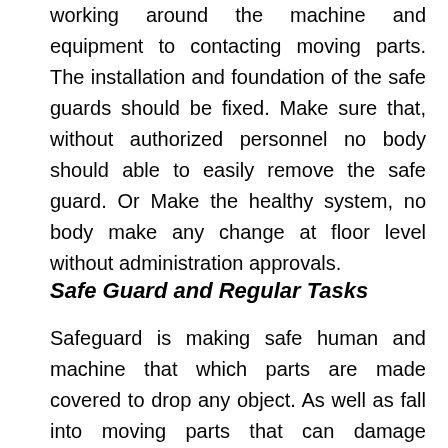working around the machine and equipment to contacting moving parts. The installation and foundation of the safe guards should be fixed. Make sure that, without authorized personnel no body should able to easily remove the safe guard. Or Make the healthy system, no body make any change at floor level without administration approvals.
Safe Guard and Regular Tasks
Safeguard is making safe human and machine that which parts are made covered to drop any object. As well as fall into moving parts that can damage machine and injure someone. The safe